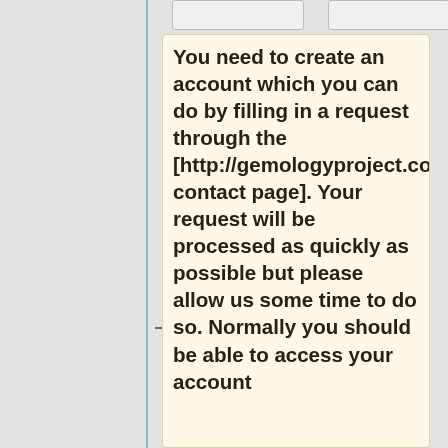You need to create an account which you can do by filling in a request through the [http://gemologyproject.com/wiki/contact.php contact page]. Your request will be processed as quickly as possible but please allow us some time to do so. Normally you should be able to access your account